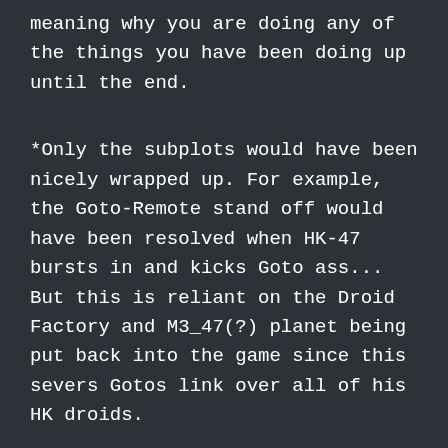meaning why you are doing any of the things you have been doing up until the end.
*Only the subplots would have been nicely wrapped up. For example, the Goto-Remote stand off would have been resolved when HK-47 bursts in and kicks Goto ass... But this is reliant on the Droid Factory and M3_47(?) planet being put back into the game since this severs Gotos link over all of his HK droids.
So, there is my take on things.